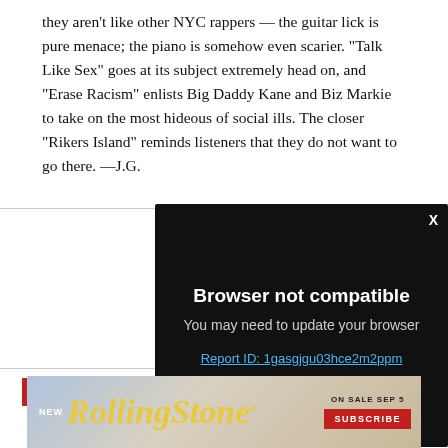they aren’t like other NYC rappers — the guitar lick is pure menace; the piano is somehow even scarier. “Talk Like Sex” goes at its subject extremely head on, and “Erase Racism” enlists Big Daddy Kane and Biz Markie to take on the most hideous of social ills. The closer “Rikers Island” reminds listeners that they do not want to go there. —J.G.
[Figure (screenshot): Browser not compatible dialog box with dark background, showing title 'Browser not compatible', subtitle 'You may need to update your browser', and a report ID link 'Report ID: 1gasgjgu03hce2m2ppm', with an X close button in the top right corner.]
[Figure (logo): Rolling Stone magazine advertisement banner with gradient background, 'NEW' text, Rolling Stone logo in yellow italic script, 'ON SALE SEP 5' text, and a red Subscribe button.]